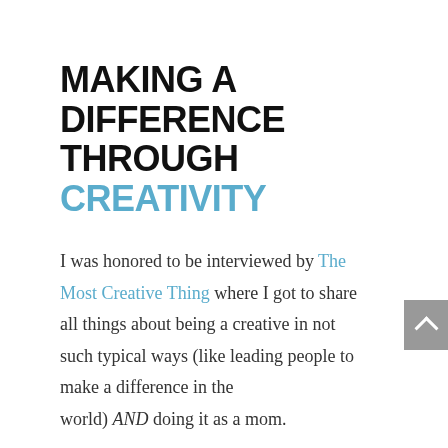MAKING A DIFFERENCE THROUGH CREATIVITY
I was honored to be interviewed by The Most Creative Thing where I got to share all things about being a creative in not such typical ways (like leading people to make a difference in the world) AND doing it as a mom.
You might totally relate to this (especially